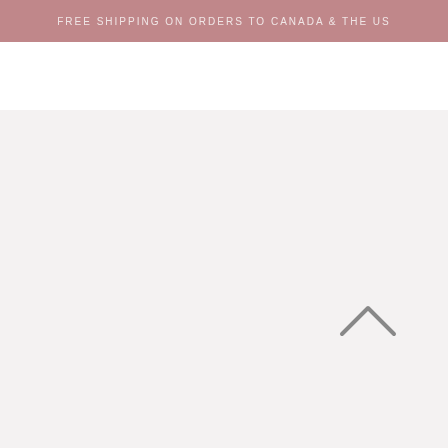FREE SHIPPING ON ORDERS TO CANADA & THE US
[Figure (other): Back-to-top chevron arrow icon, pointing upward, in grey color, positioned in lower right area of the page]